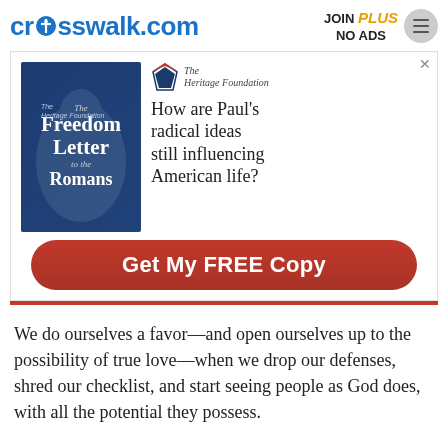crosswalk.com | JOIN PLUS NO ADS
[Figure (other): Advertisement banner for The Heritage Foundation's book 'The Freedom Letter to the Romans'. Shows book cover on left and text 'How are Paul's radical ideas still influencing American life?' with 'Get My FREE Copy' red button.]
We do ourselves a favor—and open ourselves up to the possibility of true love—when we drop our defenses, shred our checklist, and start seeing people as God does, with all the potential they possess.